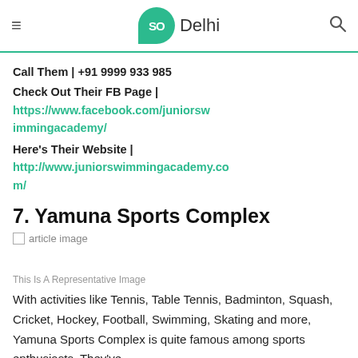SO Delhi
Call Them | +91 9999 933 985
Check Out Their FB Page | https://www.facebook.com/juniorswimmingacademy/
Here's Their Website | http://www.juniorswimmingacademy.com/
7. Yamuna Sports Complex
[Figure (photo): Article image placeholder (broken image icon with alt text 'article image')]
This Is A Representative Image
With activities like Tennis, Table Tennis, Badminton, Squash, Cricket, Hockey, Football, Swimming, Skating and more, Yamuna Sports Complex is quite famous among sports enthusiasts. They've